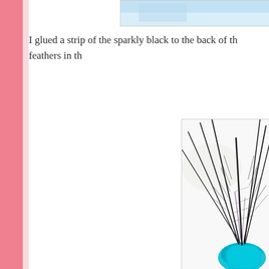[Figure (photo): Partial top image box showing a light blue/sky colored photo, cropped at top of page]
I glued a strip of the sparkly black to the back of th... feathers in th...
[Figure (photo): Close-up photo of peacock feathers fanning out in black and white tones with a bright turquoise/teal glittery base, on white background]